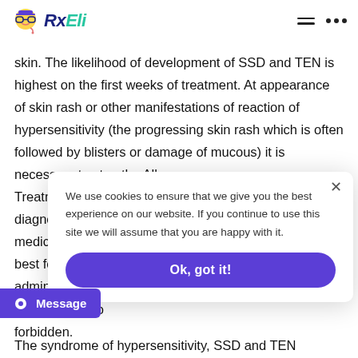RxEli
skin. The likelihood of development of SSD and TEN is highest on the first weeks of treatment. At appearance of skin rash or other manifestations of reaction of hypersensitivity (the progressing skin rash which is often followed by blisters or damage of mucous) it is necessary to stop the Allopu... Treatment of SS... diagnostics an... medicines, fast... best forecast. ... administration ... repeated purpo... forbidden.
We use cookies to ensure that we give you the best experience on our website. If you continue to use this site we will assume that you are happy with it.
Ok, got it!
Message
The syndrome of hypersensitivity, SSD and TEN